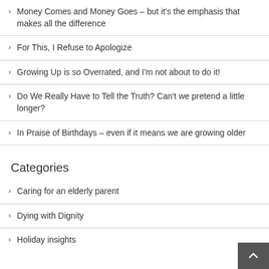Money Comes and Money Goes – but it's the emphasis that makes all the difference
For This, I Refuse to Apologize
Growing Up is so Overrated, and I'm not about to do it!
Do We Really Have to Tell the Truth? Can't we pretend a little longer?
In Praise of Birthdays – even if it means we are growing older
Categories
Caring for an elderly parent
Dying with Dignity
Holiday insights